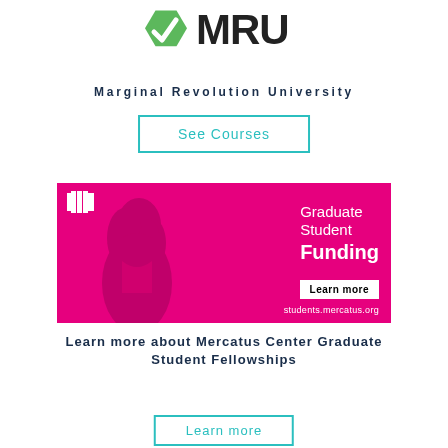[Figure (logo): MRU (Marginal Revolution University) logo with green hexagon icon and bold MRU text]
Marginal Revolution University
See Courses
[Figure (illustration): Mercatus Center Graduate Student Funding advertisement banner. Magenta/pink background with silhouette of Adam Smith in profile on left side. Right side shows white text: 'Graduate Student Funding' with 'Learn more' button and 'students.mercatus.org' URL. Top left has Mercatus logo.]
Learn more about Mercatus Center Graduate Student Fellowships
Learn more